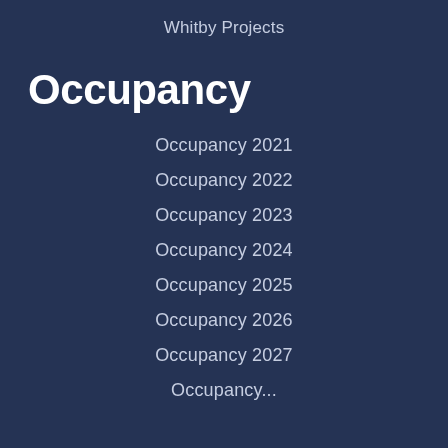Whitby Projects
Occupancy
Occupancy 2021
Occupancy 2022
Occupancy 2023
Occupancy 2024
Occupancy 2025
Occupancy 2026
Occupancy 2027
Occupancy...